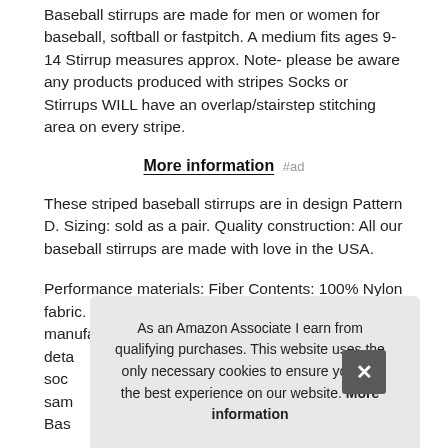Baseball stirrups are made for men or women for baseball, softball or fastpitch. A medium fits ages 9-14 Stirrup measures approx. Note- please be aware any products produced with stripes Socks or Stirrups WILL have an overlap/stairstep stitching area on every stripe.
More information #ad
These striped baseball stirrups are in design Pattern D. Sizing: sold as a pair. Quality construction: All our baseball stirrups are made with love in the USA.
Performance materials: Fiber Contents: 100% Nylon fabric. Stirrups have a 7 inch cut. Tck is the leader in manufacturing high detail... soc... sam... Bas...
As an Amazon Associate I earn from qualifying purchases. This website uses the only necessary cookies to ensure you get the best experience on our website. More information